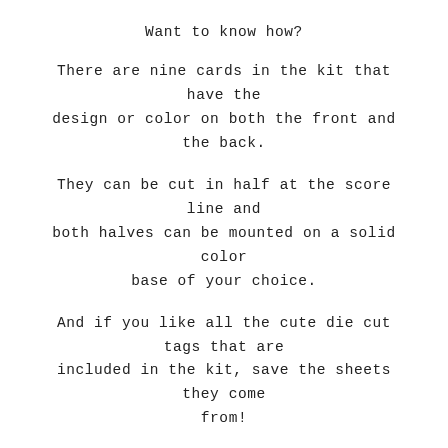Want to know how?
There are nine cards in the kit that have the design or color on both the front and the back.
They can be cut in half at the score line and both halves can be mounted on a solid color base of your choice.
And if you like all the cute die cut tags that are included in the kit, save the sheets they come from!
You'll want to cut out the colored frame that was left on the sheet and adhere it to a piece of